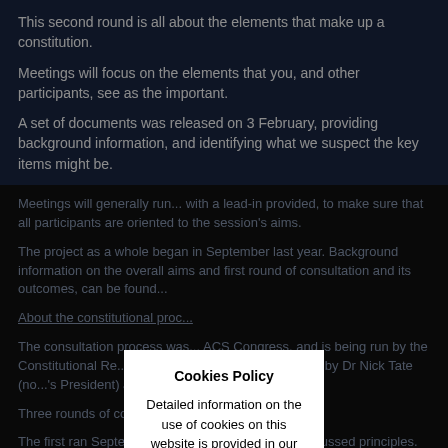This second round is all about the elements that make up a constitution.
Meetings will focus on the elements that you, and other participants, see as the important.
A set of documents was released on 3 February, providing background information, and identifying what we suspect the key items might be.
Meetings will generally run... with a lead-in provided, to make sure that all participants are oriented to the session's aims.
The project as a whole began in September last year. Background information on the overall aims and first round of consultation and its outcomes, can be found...
About the constitutional proc...
The consultation process was... ACS Congress, and is being run by the Constitutional Re... Group (CRWG), jointly convened by Dr Nick Tate (no... 's President) and Dr Roger Clarke.
Three rounds of consultation are scheduled.
The first ran September to December 2021, and discussed principles.
You can find details of that process here:
[Figure (other): Cookies Policy modal dialog overlay with title 'Cookies Policy', close button X, and body text: 'Detailed information on the use of cookies on this website is provided in our Privacy Policy. By closing this message and proceeding, you consent to our use of cookies in accordance with our Cookies Policy.']